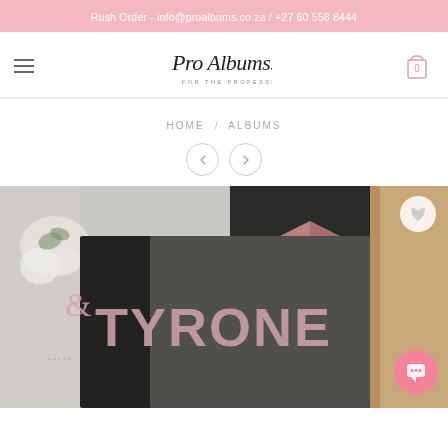Rush Order - info@proalbums.co.za / +27 60 558 8444
[Figure (logo): Pro Albums logo - cursive script text 'Pro Albums' with subtitle 'FOR THE PROFESSIONAL']
HOME / ALBUMS
[Figure (photo): Close-up photograph of a wedding album with 'TYRONE' text on a dark cover, white flowers visible in background, person in formal attire]